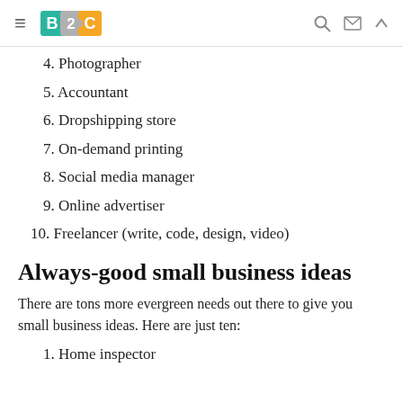B2C logo, navigation icons
4. Photographer
5. Accountant
6. Dropshipping store
7. On-demand printing
8. Social media manager
9. Online advertiser
10. Freelancer (write, code, design, video)
Always-good small business ideas
There are tons more evergreen needs out there to give you small business ideas. Here are just ten:
1. Home inspector